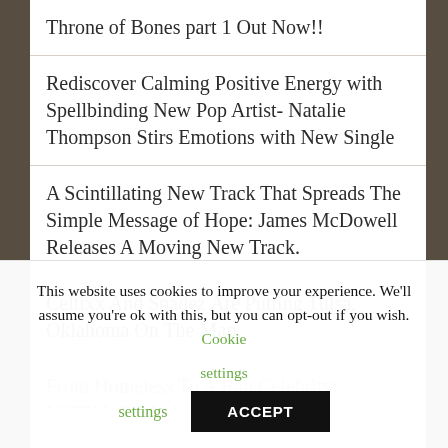Throne of Bones part 1 Out Now!!
Rediscover Calming Positive Energy with Spellbinding New Pop Artist- Natalie Thompson Stirs Emotions with New Single
A Scintillating New Track That Spreads The Simple Message of Hope: James McDowell Releases A Moving New Track.
Celtixx And Spadez Are Putting Tulsa, Oklahoma On The Map.
From Homeless To A Rap Celebrity: NITEMyRE N A…
This website uses cookies to improve your experience. We'll assume you're ok with this, but you can opt-out if you wish. Cookie settings ACCEPT